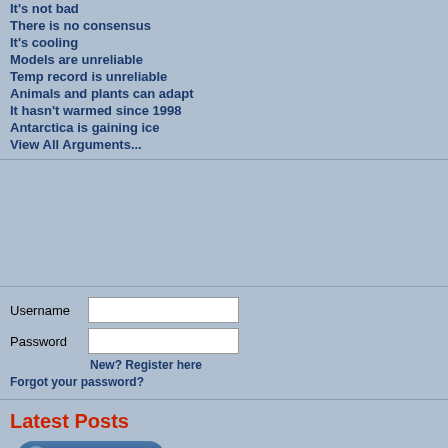It's not bad
There is no consensus
It's cooling
Models are unreliable
Temp record is unreliable
Animals and plants can adapt
It hasn't warmed since 1998
Antarctica is gaining ice
View All Arguments...
Username
Password
New? Register here
Forgot your password?
Latest Posts
Look up a Term
| Reference | Title |
| --- | --- |
| Lockwood & Froehlich (2007) | Rece... globa... |
| Lockwood & Froehlich 2007 | Rece... globa... |
| Lockwood 2001 | Long-... helios... |
| Lockwood 2007 | Rece... globa... |
| Lockwood 2008 | Rece... tempo... tempo... |
| Loeb et al. (2007a) | Multi-... Radia... |
| Loeb et al. (2007b) | Angu... Estim... Instru... |
| Loeb et al. (2009) | Towa... budge... |
| Loeb et al. 2007a | Multi-... Radia... |
| Loeb et al. 2007b | Angu... Estim... Instru... |